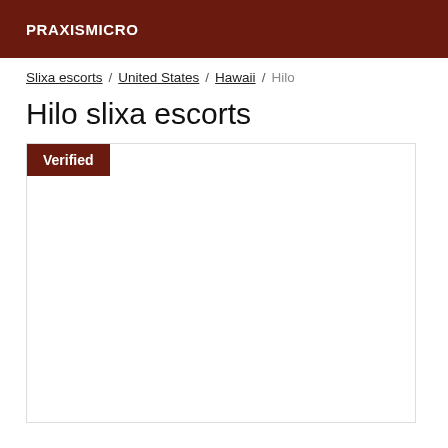PRAXISMICRO
Slixa escorts / United States / Hawaii / Hilo
Hilo slixa escorts
[Figure (other): Card with a dark red Verified badge in the top-left corner and otherwise blank white content area with a light border.]